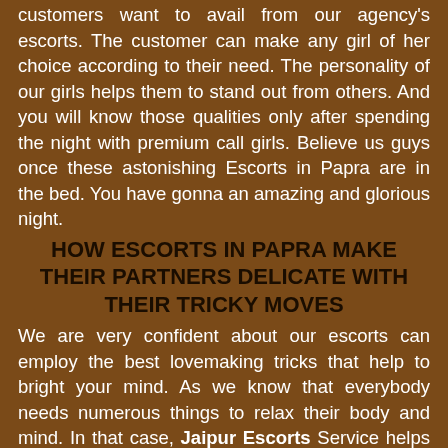customers want to avail from our agency's escorts. The customer can make any girl of her choice according to their need. The personality of our girls helps them to stand out from others. And you will know those qualities only after spending the night with premium call girls. Believe us guys once these astonishing Escorts in Papra are in the bed. You have gonna an amazing and glorious night.
HOW ESCORTS IN PAPRA MAKE THEIR PARTNERS DELICATE WITH THEIR TRICKY MOVES
We are very confident about our escorts can employ the best lovemaking tricks that help to bright your mind. As we know that everybody needs numerous things to relax their body and mind. In that case, Jaipur Escorts Service helps those people to find out a perfect call girl for superb enjoyment. When escorts are with their partners they always try to find some innovative ways. Which helps them to make that particular night memorable. Now the choice is yours that employ a call girl and tell her what you want from them. After that rest of the work will be done by these paramour escorts